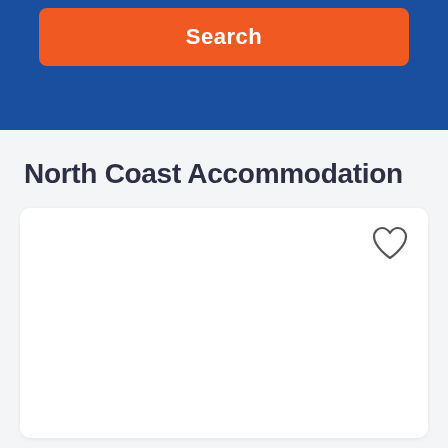Search
North Coast Accommodation
[Figure (screenshot): White card panel with a heart/favorite icon in the top-right corner]